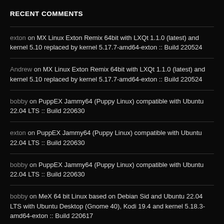RECENT COMMENTS
exton on MX Linux Exton Remix 64bit with LXQt 1.1.0 (latest) and kernel 5.10 replaced by kernel 5.17.7-amd64-exton :: Build 220524
Andrew on MX Linux Exton Remix 64bit with LXQt 1.1.0 (latest) and kernel 5.10 replaced by kernel 5.17.7-amd64-exton :: Build 220524
bobby on PuppEX Jammy64 (Puppy Linux) compatible with Ubuntu 22.04 LTS :: Build 220630
exton on PuppEX Jammy64 (Puppy Linux) compatible with Ubuntu 22.04 LTS :: Build 220630
bobby on PuppEX Jammy64 (Puppy Linux) compatible with Ubuntu 22.04 LTS :: Build 220630
bobby on MeX 64 bit Linux based on Debian Sid and Ubuntu 22.04 LTS with Ubuntu Desktop (Gnome 40), Kodi 19.4 and kernel 5.18.3-amd64-exton :: Build 220617
bobby on PuppEX Slack64 15.0 built using Woof-CE scripts :: 220625